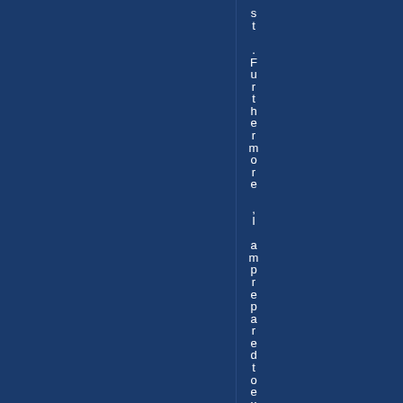st .Furthermore ,I am prepared to ex